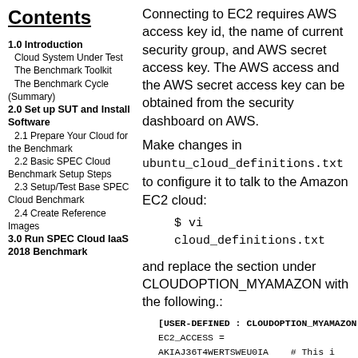Contents
1.0 Introduction
Cloud System Under Test
The Benchmark Toolkit
The Benchmark Cycle (Summary)
2.0 Set up SUT and Install Software
2.1 Prepare Your Cloud for the Benchmark
2.2 Basic SPEC Cloud Benchmark Setup Steps
2.3 Setup/Test Base SPEC Cloud Benchmark
2.4 Create Reference Images
3.0 Run SPEC Cloud IaaS 2018 Benchmark
Connecting to EC2 requires AWS access key id, the name of current security group, and AWS secret access key. The AWS access and the AWS secret access key can be obtained from the security dashboard on AWS.
Make changes in ubuntu_cloud_definitions.txt to configure it to talk to the Amazon EC2 cloud:
$ vi cloud_definitions.txt
and replace the section under CLOUDOPTION_MYAMAZON with the following.:
[USER-DEFINED : CLOUDOPTION_MYAMAZON
EC2_ACCESS =
AKIAJ36T4WERTSWEU0IA    # This i